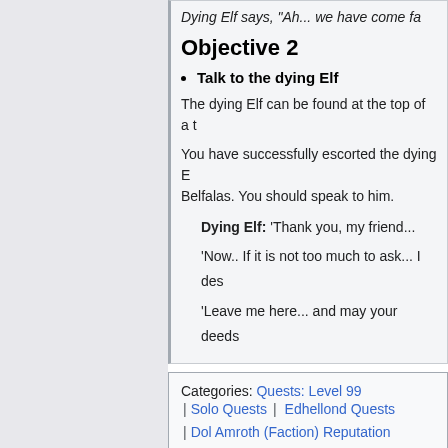Dying Elf says, "Ah... we have come fa
Objective 2
Talk to the dying Elf
The dying Elf can be found at the top of a t
You have successfully escorted the dying E... Belfalas. You should speak to him.
Dying Elf: 'Thank you, my friend...
'Now.. If it is not too much to ask... I des
'Leave me here... and may your deeds
Categories: Quests: Level 99 | Solo Quests | Edhellond Quests | Dol Amroth (Faction) Reputation Quests | Item Advancement Experience Quests | Steed Experience Quests